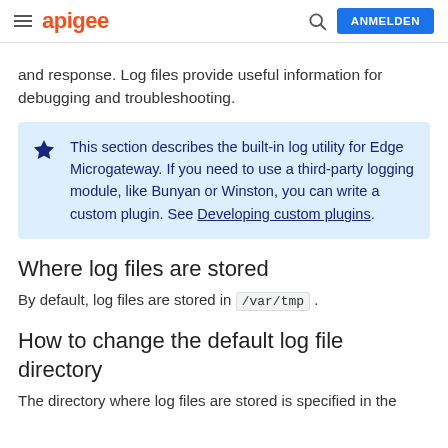apigee  ANMELDEN
and response. Log files provide useful information for debugging and troubleshooting.
This section describes the built-in log utility for Edge Microgateway. If you need to use a third-party logging module, like Bunyan or Winston, you can write a custom plugin. See Developing custom plugins.
Where log files are stored
By default, log files are stored in /var/tmp .
How to change the default log file directory
The directory where log files are stored is specified in the